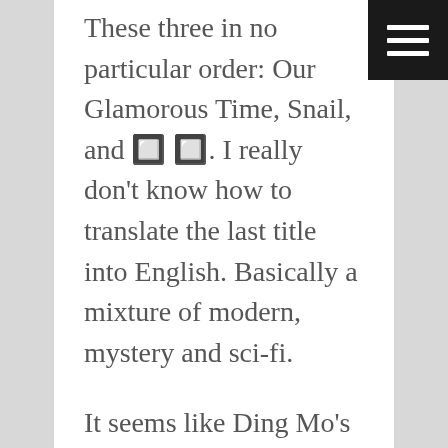These three in no particular order: Our Glamorous Time, Snail, and 🔲🔲. I really don't know how to translate the last title into English. Basically a mixture of modern, mystery and sci-fi.
It seems like Ding Mo's books have garnered a lot of interest so they're doing adaptations, but it's just not the same as reading